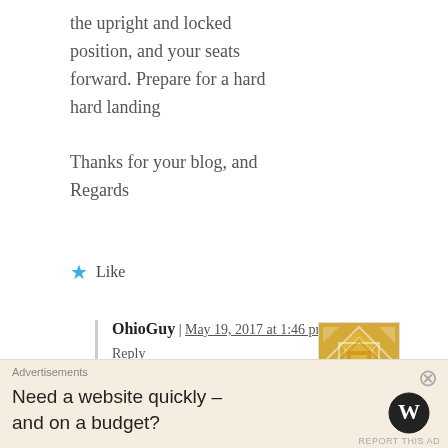the upright and locked position, and your seats forward. Prepare for a hard hard landing

Thanks for your blog, and Regards
★ Like
OhioGuy | May 19, 2017 at 1:46 pm | Reply
[Figure (illustration): Gold and white decorative geometric quilt pattern avatar icon]
Mr G … apologies for the non-link link
Advertisements
Need a website quickly – and on a budget?
[Figure (logo): WordPress circular logo mark in dark grey/black]